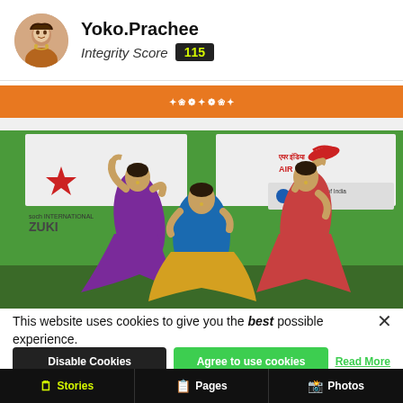Yoko.Prachee — Integrity Score 115
[Figure (photo): Three classical Indian dancers (Bharatanatyam) performing on stage with orange, green, and white banners including Air India and State Bank of India logos in background]
This website uses cookies to give you the best possible experience.
Disable Cookies | Agree to use cookies | Read More
Stories | Pages | Photos